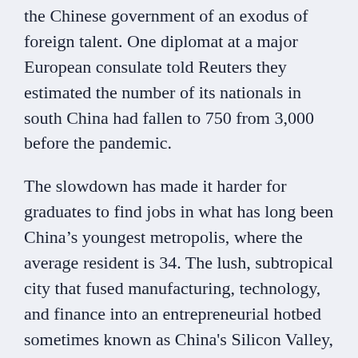the Chinese government of an exodus of foreign talent. One diplomat at a major European consulate told Reuters they estimated the number of its nationals in south China had fallen to 750 from 3,000 before the pandemic.
The slowdown has made it harder for graduates to find jobs in what has long been China's youngest metropolis, where the average resident is 34. The lush, subtropical city that fused manufacturing, technology, and finance into an entrepreneurial hotbed sometimes known as China's Silicon Valley, was a magnet for ambitious and talented graduates from across the country.
“I’ve interned at companies where classmates a year or two older had found jobs, but it’s much harder to land a position than it was for them.”